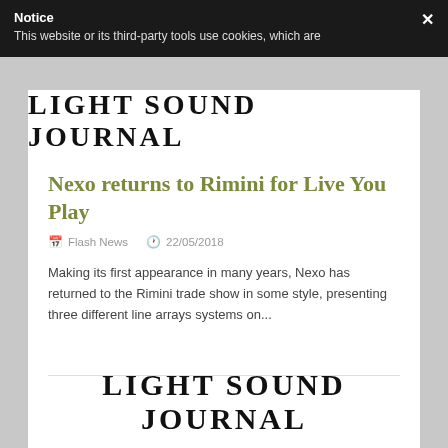Notice
This website or its third-party tools use cookies, which are
[Figure (logo): LIGHT SOUND JOURNAL masthead logo in bold serif uppercase letters]
Nexo returns to Rimini for Live You Play
Flash News  22/05/2018
Making its first appearance in many years, Nexo has returned to the Rimini trade show in some style, presenting three different line arrays systems on...
[Figure (logo): LIGHT SOUND JOURNAL masthead logo in bold serif uppercase letters, partially visible at bottom]